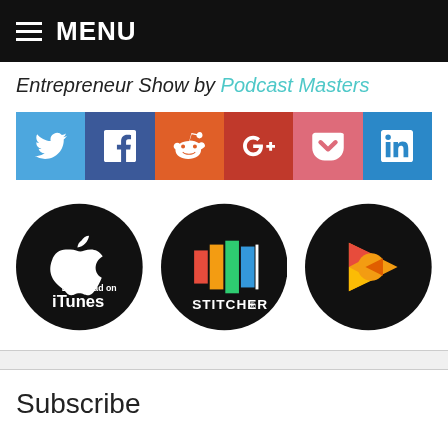MENU
Entrepreneur Show by Podcast Masters
[Figure (other): Social share buttons row: Twitter (blue), Facebook (dark blue), Reddit (orange), Google+ (red), Pocket (pink), LinkedIn (blue)]
[Figure (other): Podcast platform badges: Download on iTunes (black circle), Stitcher (black circle), Google Play Music (black circle with orange play icon)]
Subscribe